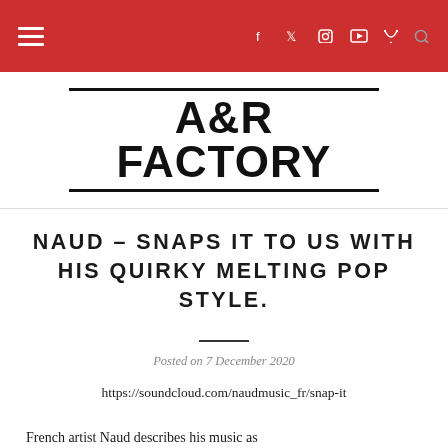A&R Factory — navigation header with hamburger menu and social icons
[Figure (logo): A&R Factory logo with bold text between two horizontal rules]
NAUD – SNAPS IT TO US WITH HIS QUIRKY MELTING POP STYLE.
Posted on 7 December 2020
https://soundcloud.com/naudmusic_fr/snap-it
French artist Naud describes his music as